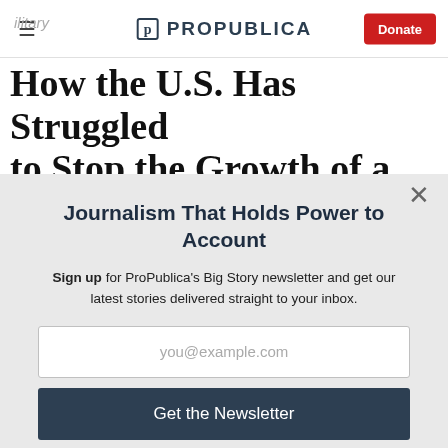☰  ProPublica  Donate
How the U.S. Has Struggled to Stop the Growth of a
Journalism That Holds Power to Account
Sign up for ProPublica's Big Story newsletter and get our latest stories delivered straight to your inbox.
you@example.com
Get the Newsletter
No thanks, I'm all set
This site is protected by reCAPTCHA and the Google Privacy Policy and Terms of Service apply.